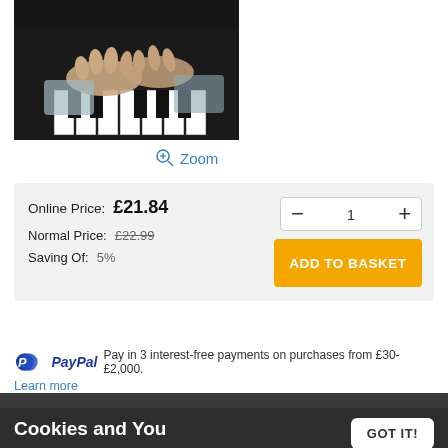[Figure (photo): Person's hands playing piano keys, painting or artwork style image]
Zoom
Online Price: £21.84
Normal Price: £22.99
Saving Of: 5%
ADD TO BASKET
PayPal Pay in 3 interest-free payments on purchases from £30-£2,000.
Learn more
Availability: ⚠ Special order, usually ships in 2-5 working days
Cookies and You
We use cookies on this website. You are free to manage these via your browser settings at any time. For more about how we use cookies, please see our Privacy Policy.
GOT IT!
Edition: 0486401952